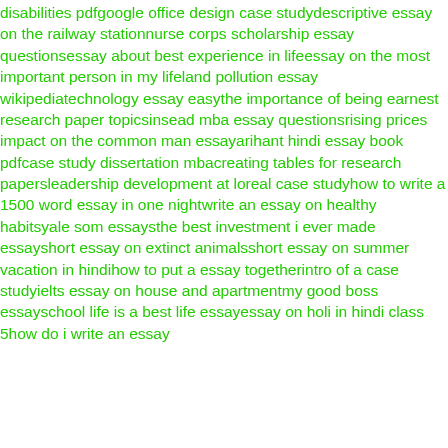disabilities pdfgoogle office design case studydescriptive essay on the railway stationnurse corps scholarship essay questionsessay about best experience in lifeessay on the most important person in my lifeland pollution essay wikipediatechnology essay easythe importance of being earnest research paper topicsinsead mba essay questionsrising prices impact on the common man essayarihant hindi essay book pdfcase study dissertation mbacreating tables for research papersleadership development at loreal case studyhow to write a 1500 word essay in one nightwrite an essay on healthy habitsyale som essaysthe best investment i ever made essayshort essay on extinct animalsshort essay on summer vacation in hindihow to put a essay togetherintro of a case studyielts essay on house and apartmentmy good boss essayschool life is a best life essayessay on holi in hindi class 5how do i write an essay